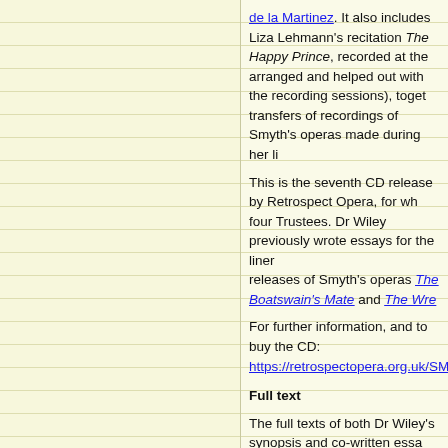de la Martinez. It also includes Liza Lehmann's recitation The Happy Prince, recorded at the arranged and helped out with the recording sessions), together transfers of recordings of Smyth's operas made during her li
This is the seventh CD release by Retrospect Opera, for wh four Trustees. Dr Wiley previously wrote essays for the liner releases of Smyth's operas The Boatswain's Mate and The Wre
For further information, and to buy the CD: https://retrospectopera.org.uk/SMYTH/FeteG.html
Full text
The full texts of both Dr Wiley's synopsis and co-written essa download under licence from Surrey Research Insight Open https://epubs.surrey.ac.uk/853063/
Update: Dr Wiley has also co-written, with Lucy Stevens ano liner notes for the CD Dame Ethel Smyth: Songs and Ballads (S Stevens (contralto), Elizabeth Marcus (piano), and the Berke Odaline de la Martinez. Further information: https://www.son recordings.com/recording/dame-ethel-smyth-songs-and-ball